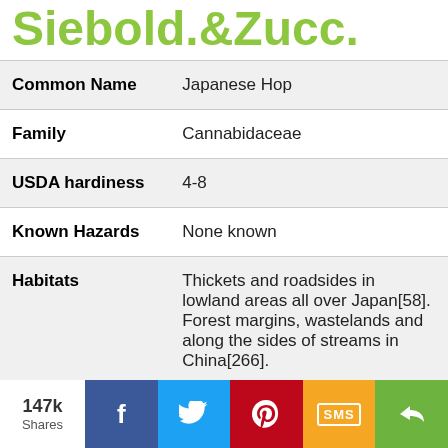Siebold.&Zucc.
| Property | Value |
| --- | --- |
| Common Name | Japanese Hop |
| Family | Cannabidaceae |
| USDA hardiness | 4-8 |
| Known Hazards | None known |
| Habitats | Thickets and roadsides in lowland areas all over Japan[58]. Forest margins, wastelands and along the sides of streams in China[266]. |
147k Shares